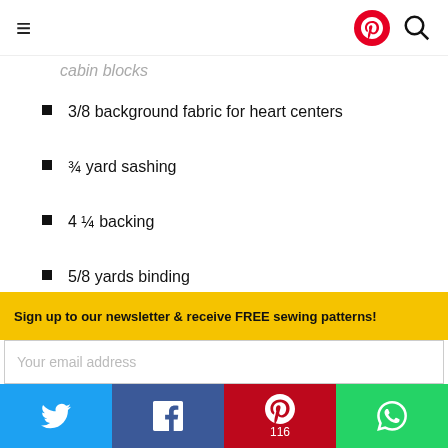≡  [Pinterest icon] [Search icon]
cabin blocks
3/8 background fabric for heart centers
¾ yard sashing
4 ¼ backing
5/8 yards binding
The pattern provides you with a complete list of materials needed to complete this quilting project as well as clear and simple instructions
Sign up to our newsletter & receive FREE sewing patterns!
Your email address
Twitter | Facebook | Pinterest 116 | WhatsApp